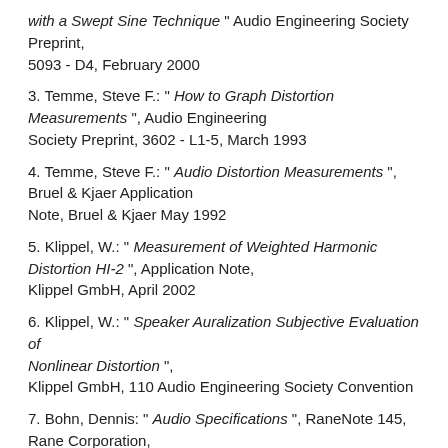with a Swept Sine Technique" Audio Engineering Society Preprint, 5093 - D4, February 2000
3. Temme, Steve F.: " How to Graph Distortion Measurements", Audio Engineering Society Preprint, 3602 - L1-5, March 1993
4. Temme, Steve F.: " Audio Distortion Measurements", Bruel & Kjaer Application Note, Bruel & Kjaer May 1992
5. Klippel, W.: " Measurement of Weighted Harmonic Distortion HI-2", Application Note, Klippel GmbH, April 2002
6. Klippel, W.: " Speaker Auralization Subjective Evaluation of Nonlinear Distortion", Klippel GmbH, 110 Audio Engineering Society Convention
7. Bohn, Dennis: " Audio Specifications", RaneNote 145, Rane Corporation, January 2003